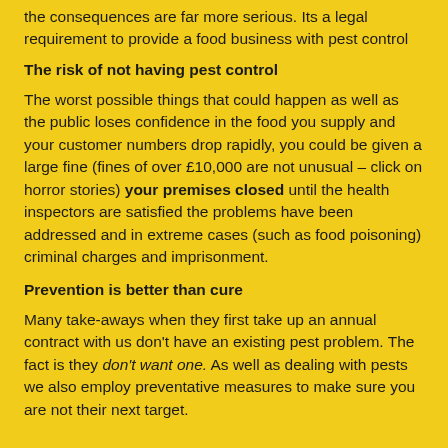the consequences are far more serious. Its a legal requirement to provide a food business with pest control
The risk of not having pest control
The worst possible things that could happen as well as the public loses confidence in the food you supply and your customer numbers drop rapidly, you could be given a large fine (fines of over £10,000 are not unusual – click on horror stories) your premises closed until the health inspectors are satisfied the problems have been addressed and in extreme cases (such as food poisoning) criminal charges and imprisonment.
Prevention is better than cure
Many take-aways when they first take up an annual contract with us don't have an existing pest problem. The fact is they don't want one. As well as dealing with pests we also employ preventative measures to make sure you are not their next target.